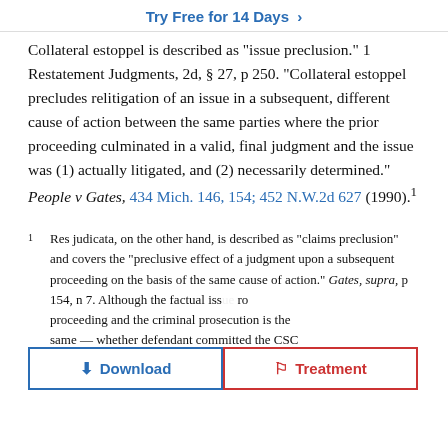Try Free for 14 Days >
Collateral estoppel is described as "issue preclusion." 1 Restatement Judgments, 2d, § 27, p 250. "Collateral estoppel precludes relitigation of an issue in a subsequent, different cause of action between the same parties where the prior proceeding culminated in a valid, final judgment and the issue was (1) actually litigated, and (2) necessarily determined." People v Gates, 434 Mich. 146, 154; 452 N.W.2d 627 (1990).¹
1  Res judicata, on the other hand, is described as "claims preclusion" and covers the "preclusive effect of a judgment upon a subsequent proceeding on the basis of the same cause of action." Gates, supra, p 154, n 7. Although the factual issue ... pro... proceeding and the criminal prosecution is the same — whether defendant committed the CSC